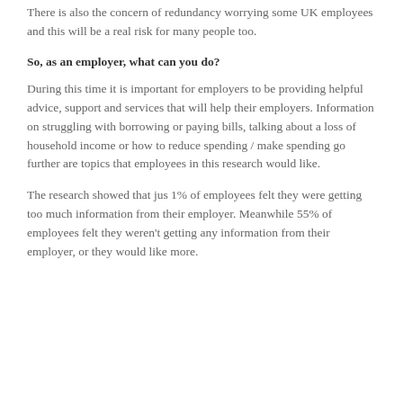There is also the concern of redundancy worrying some UK employees and this will be a real risk for many people too.
So, as an employer, what can you do?
During this time it is important for employers to be providing helpful advice, support and services that will help their employers. Information on struggling with borrowing or paying bills, talking about a loss of household income or how to reduce spending / make spending go further are topics that employees in this research would like.
The research showed that jus 1% of employees felt they were getting too much information from their employer. Meanwhile 55% of employees felt they weren't getting any information from their employer, or they would like more.